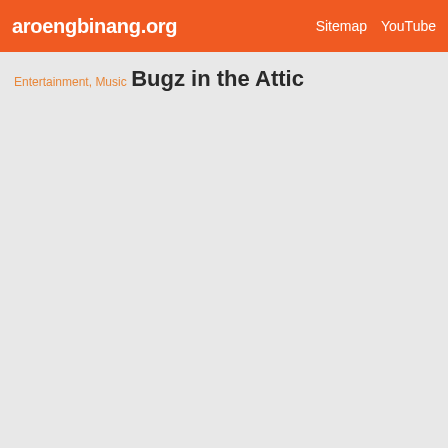aroengbinang.org  Sitemap  YouTube
Entertainment, Music
Bugz in the Attic